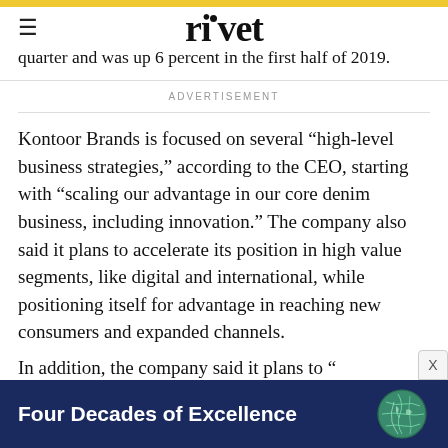rivet
quarter and was up 6 percent in the first half of 2019.
ADVERTISEMENT
Kontoor Brands is focused on several “high-level business strategies,” according to the CEO, starting with “scaling our advantage in our core denim business, including innovation.” The company also said it plans to accelerate its position in high value segments, like digital and international, while positioning itself for advantage in reaching new consumers and expanded channels.
[Figure (other): Advertisement banner: dark navy background with text 'Four Decades of Excellence' in white bold font and a globe illustration on the right side.]